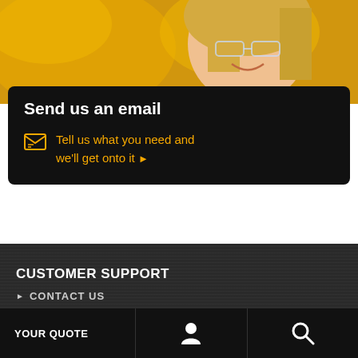[Figure (photo): Smiling woman with safety glasses, blonde hair, wearing dark jacket, with yellow/orange blurred background (construction or industrial setting)]
Send us an email
Tell us what you need and we'll get onto it ▶
CUSTOMER SUPPORT
▶ CONTACT US
YOUR QUOTE